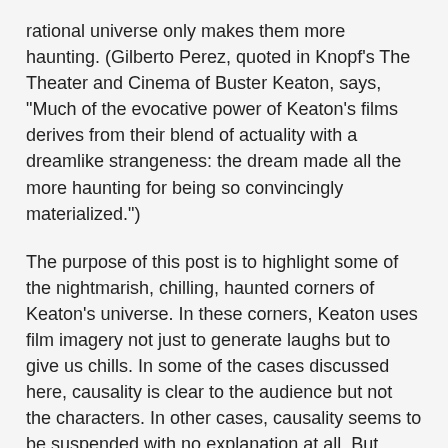rational universe only makes them more haunting. (Gilberto Perez, quoted in Knopf's The Theater and Cinema of Buster Keaton, says, "Much of the evocative power of Keaton's films derives from their blend of actuality with a dreamlike strangeness: the dream made all the more haunting for being so convincingly materialized.")
The purpose of this post is to highlight some of the nightmarish, chilling, haunted corners of Keaton’s universe. In these corners, Keaton uses film imagery not just to generate laughs but to give us chills. In some of the cases discussed here, causality is clear to the audience but not the characters. In other cases, causality seems to be suspended with no explanation at all. But whether or not we see the mechanics or not, the audience experiences a haunted shiver, the sudden perception that, in a little part of the universe, the normal rules don’t apply.
As a fan of both silent comedy and horror movies, I think these haunting moments are to be treasured.